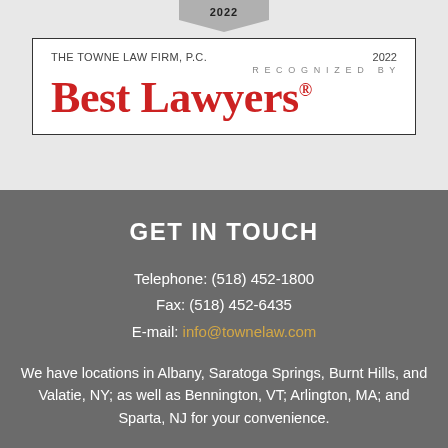[Figure (logo): Best Lawyers 2022 recognition badge/logo for The Towne Law Firm, P.C. with red 'Best Lawyers' text and 'RECOGNIZED BY' in small caps]
GET IN TOUCH
Telephone: (518) 452-1800
Fax: (518) 452-6435
E-mail: info@townelaw.com
We have locations in Albany, Saratoga Springs, Burnt Hills, and Valatie, NY; as well as Bennington, VT; Arlington, MA; and Sparta, NJ for your convenience.